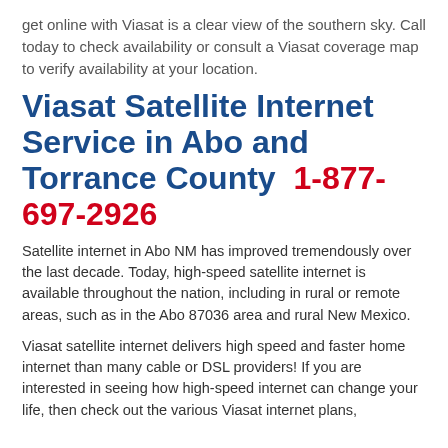get online with Viasat is a clear view of the southern sky. Call today to check availability or consult a Viasat coverage map to verify availability at your location.
Viasat Satellite Internet Service in Abo and Torrance County 1-877-697-2926
Satellite internet in Abo NM has improved tremendously over the last decade. Today, high-speed satellite internet is available throughout the nation, including in rural or remote areas, such as in the Abo 87036 area and rural New Mexico.
Viasat satellite internet delivers high speed and faster home internet than many cable or DSL providers! If you are interested in seeing how high-speed internet can change your life, then check out the various Viasat internet plans,